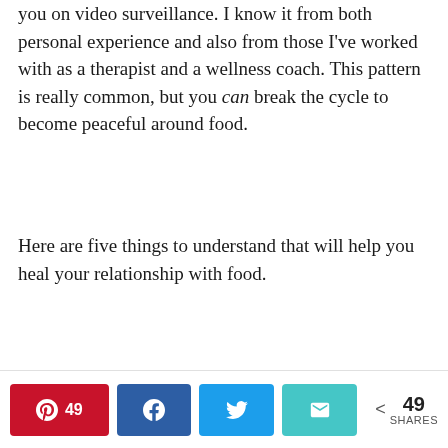you on video surveillance. I know it from both personal experience and also from those I've worked with as a therapist and a wellness coach. This pattern is really common, but you can break the cycle to become peaceful around food.
Here are five things to understand that will help you heal your relationship with food.
1. Biology is powerful
We understand when our body tells us we need to sleep. We respect when our body tells us we need to use the toilet (you can tell you get that one). But when it comes to eating. We figure we can override our own biology.
This website uses cookies to ensure you get the best experience on our website. Learn more
[Figure (other): Got it! button for cookie consent]
49  49 SHARES (Pinterest, Facebook, Twitter, Email share buttons)